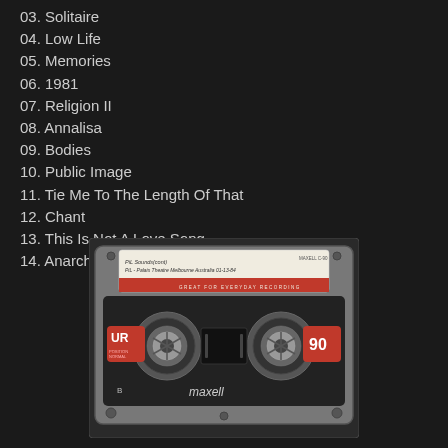03. Solitaire
04. Low Life
05. Memories
06. 1981
07. Religion II
08. Annalisa
09. Bodies
10. Public Image
11. Tie Me To The Length Of That
12. Chant
13. This Is Not A Love Song
14. Anarchy In The UK
[Figure (photo): A Maxell UR 90 cassette tape, side B, with a handwritten label reading 'PiL Sounds (cont) PiL - Palais Theatre Melbourne Australia 01-13-84', with 'GREAT FOR EVERYDAY RECORDING' printed on the tape. The cassette has a red and black design with 'UR' and '90' markings and 'maxell' branding.]